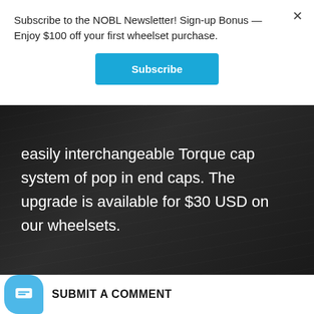Subscribe to the NOBL Newsletter! Sign-up Bonus — Enjoy $100 off your first wheelset purchase.
Subscribe
easily interchangeable Torque cap system of pop in end caps. The upgrade is available for $30 USD on our wheelsets.
SUBMIT A COMMENT